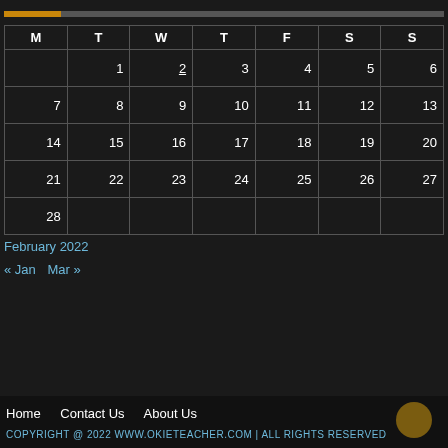[Figure (other): Progress bar with golden fill at approximately 13% and gray remainder]
| M | T | W | T | F | S | S |
| --- | --- | --- | --- | --- | --- | --- |
|  | 1 | 2 | 3 | 4 | 5 | 6 |
| 7 | 8 | 9 | 10 | 11 | 12 | 13 |
| 14 | 15 | 16 | 17 | 18 | 19 | 20 |
| 21 | 22 | 23 | 24 | 25 | 26 | 27 |
| 28 |  |  |  |  |  |  |
February 2022
« Jan    Mar »
Home    Contact Us    About Us
COPYRIGHT @ 2022 WWW.OKIETEACHER.COM | ALL RIGHTS RESERVED